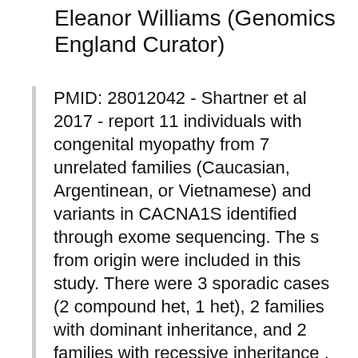Eleanor Williams (Genomics England Curator)
PMID: 28012042 - Shartner et al 2017 - report 11 individuals with congenital myopathy from 7 unrelated families (Caucasian, Argentinean, or Vietnamese) and variants in CACNA1S identified through exome sequencing. The s from origin were included in this study. There were 3 sporadic cases (2 compound het, 1 het), 2 families with dominant inheritance, and 2 families with recessive inheritance . 10 different variants were identified.